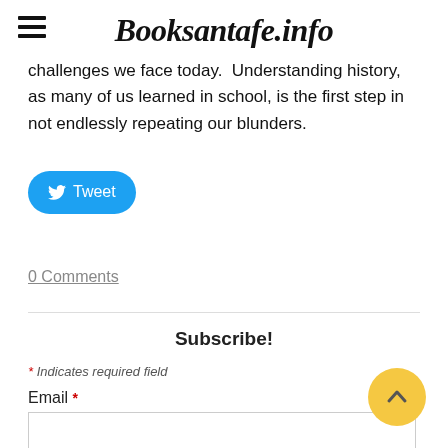Booksantafe.info
challenges we face today.  Understanding history, as many of us learned in school, is the first step in not endlessly repeating our blunders.
[Figure (other): Tweet button with Twitter bird icon]
0 Comments
Subscribe!
* Indicates required field
Email *
[Figure (other): Email input text field]
SUBSCRIBE
[Figure (other): Scroll-to-top yellow circular button with upward chevron]